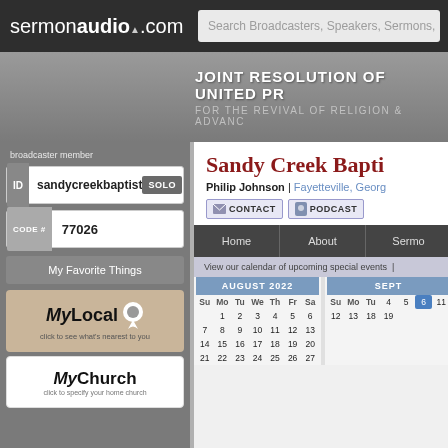sermonaudio.com | Search Broadcasters, Speakers, Sermons,
JOINT RESOLUTION OF UNITED PR... FOR THE REVIVAL OF RELIGION & ADVAN...
broadcaster member
ID  sandycreekbaptist  SOLO
CODE #  77026
My Favorite Things
[Figure (logo): MyLocal logo with location pin icon and text 'click to see what's nearest to you']
[Figure (logo): MyChurch logo with text 'click to specify your home church']
Sandy Creek Bapti...
Philip Johnson | Fayetteville, Georg...
CONTACT  PODCAST
Home  About  Sermo...
View our calendar of upcoming special events |
| Su | Mo | Tu | We | Th | Fr | Sa |
| --- | --- | --- | --- | --- | --- | --- |
|  | 1 | 2 | 3 | 4 | 5 | 6 |
| 7 | 8 | 9 | 10 | 11 | 12 | 13 |
| 14 | 15 | 16 | 17 | 18 | 19 | 20 |
| 21 | 22 | 23 | 24 | 25 | 26 | 27 |
| Su | Mo | Tu |
| --- | --- | --- |
| 4 | 5 | 6 |
| 11 | 12 | 13 |
| 18 | 19 |  |